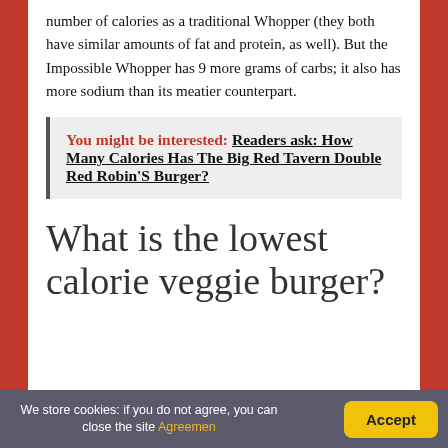number of calories as a traditional Whopper (they both have similar amounts of fat and protein, as well). But the Impossible Whopper has 9 more grams of carbs; it also has more sodium than its meatier counterpart.
You might be interested: Readers ask: How Many Calories Has The Big Red Tavern Double Red Robin'S Burger?
What is the lowest calorie veggie burger?
We store cookies: if you do not agree, you can close the site Agreemen